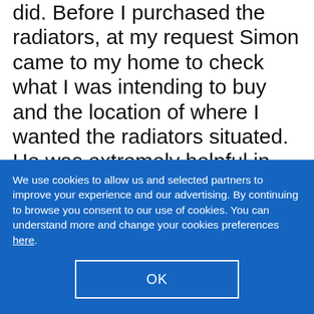did. Before I purchased the radiators, at my request Simon came to my home to check what I was intending to buy and the location of where I wanted the radiators situated. He was extremely helpful in talking through the work required and pros and cons of which walls would be best for their location. He was extremely polite and completed the job with minimal disruption, leaving only a small amount of touching up of the paintwork to be
We use cookies to allow us and selected partners to improve your experience and our advertising. By continuing to browse you consent to our use of cookies. You can understand more and change your cookies preferences here.
OK